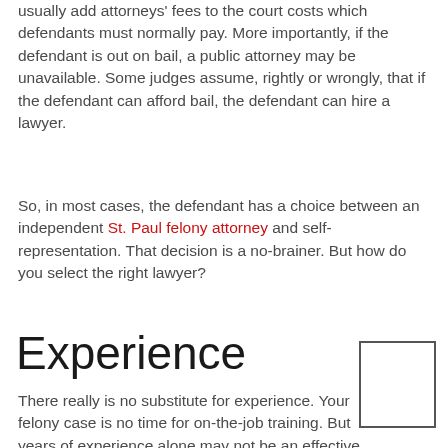usually add attorneys' fees to the court costs which defendants must normally pay. More importantly, if the defendant is out on bail, a public attorney may be unavailable. Some judges assume, rightly or wrongly, that if the defendant can afford bail, the defendant can hire a lawyer.
So, in most cases, the defendant has a choice between an independent St. Paul felony attorney and self-representation. That decision is a no-brainer. But how do you select the right lawyer?
Experience
There really is no substitute for experience. Your felony case is no time for on-the-job training. But years of experience alone may not be an effective measuring stick. Ramsey County criminal defendants need legal advocates with substantial criminal law experience.